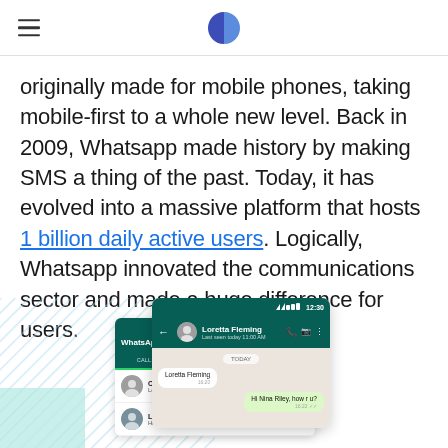[hamburger menu] [logo]
originally made for mobile phones, taking mobile-first to a whole new level. Back in 2009, Whatsapp made history by making SMS a thing of the past. Today, it has evolved into a massive platform that hosts 1 billion daily active users. Logically, Whatsapp innovated the communications sector and made a huge difference for users.
[Figure (screenshot): Two overlapping smartphone screenshots showing the WhatsApp mobile app interface. One shows the Chats list with tabs for Calls, Chats, Contacts. The other overlay shows a chat conversation with Loretta Fleming, showing message 'Hi Nina Riley, how r u?' with a light blue hatched background on the left side.]